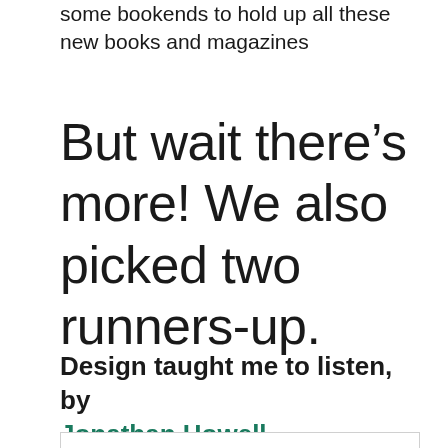some bookends to hold up all these new books and magazines
But wait there’s more! We also picked two runners-up.
Design taught me to listen, by Jonathan Howell
[Figure (photo): A partially visible image box at the bottom of the page]